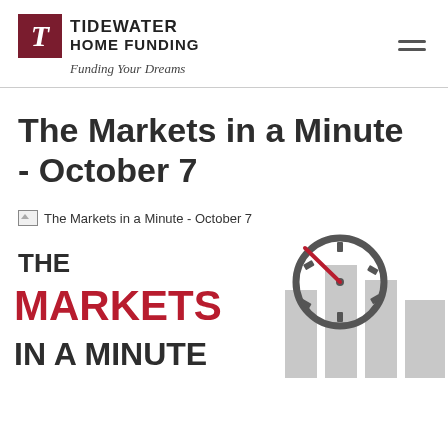Tidewater Home Funding — Funding Your Dreams
The Markets in a Minute - October 7
[Figure (other): Broken image placeholder labeled 'The Markets in a Minute - October 7']
[Figure (infographic): The Markets in a Minute infographic with a clock graphic and bar chart elements. Text reads: THE MARKETS IN A MINUTE]